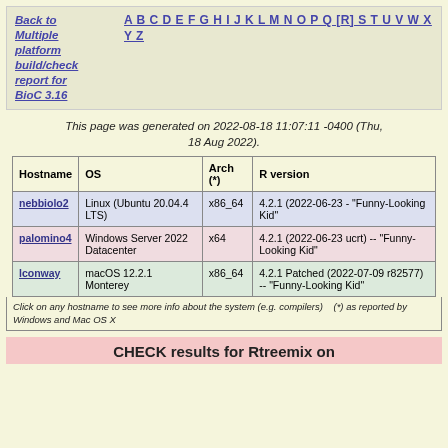Back to Multiple platform build/check report for BioC 3.16   A B C D E F G H I J K L M N O P Q [R] S T U V W X Y Z
This page was generated on 2022-08-18 11:07:11 -0400 (Thu, 18 Aug 2022).
| Hostname | OS | Arch (*) | R version |
| --- | --- | --- | --- |
| nebbiolo2 | Linux (Ubuntu 20.04.4 LTS) | x86_64 | 4.2.1 (2022-06-23 - "Funny-Looking Kid" |
| palomino4 | Windows Server 2022 Datacenter | x64 | 4.2.1 (2022-06-23 ucrt) -- "Funny-Looking Kid" |
| lconway | macOS 12.2.1 Monterey | x86_64 | 4.2.1 Patched (2022-07-09 r82577) -- "Funny-Looking Kid" |
Click on any hostname to see more info about the system (e.g. compilers)    (*) as reported by Windows and Mac OS X
CHECK results for Rtreemix on